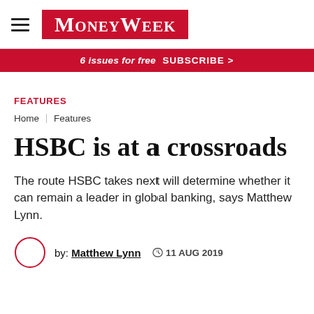MoneyWeek
6 issues for free  SUBSCRIBE >
FEATURES
Home | Features
HSBC is at a crossroads
The route HSBC takes next will determine whether it can remain a leader in global banking, says Matthew Lynn.
by: Matthew Lynn  11 AUG 2019